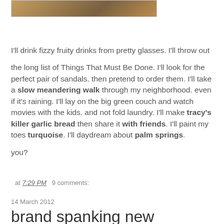[Figure (photo): Partial image visible at top of page, showing warm earthy tones suggesting an outdoor or artistic scene.]
I'll drink fizzy fruity drinks from pretty glasses. I'll throw out the long list of Things That Must Be Done. I'll look for the perfect pair of sandals. then pretend to order them. I'll take a slow meandering walk through my neighborhood. even if it's raining. I'll lay on the big green couch and watch movies with the kids. and not fold laundry. I'll make tracy's killer garlic bread then share it with friends. I'll paint my toes turquoise. I'll daydream about palm springs.
you?
at 7:29 PM   9 comments:
14 March 2012
brand spanking new